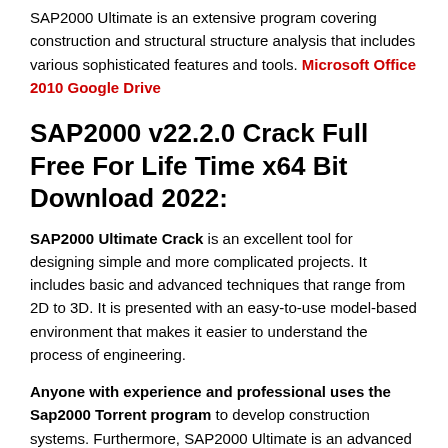SAP2000 Ultimate is an extensive program covering construction and structural structure analysis that includes various sophisticated features and tools. Microsoft Office 2010 Google Drive
SAP2000 v22.2.0 Crack Full Free For Life Time x64 Bit Download 2022:
SAP2000 Ultimate Crack is an excellent tool for designing simple and more complicated projects. It includes basic and advanced techniques that range from 2D to 3D. It is presented with an easy-to-use model-based environment that makes it easier to understand the process of engineering.
Anyone with experience and professional uses the Sap2000 Torrent program to develop construction systems. Furthermore, SAP2000 Ultimate is an advanced civil engineering software. Therefore, it is ideal for the